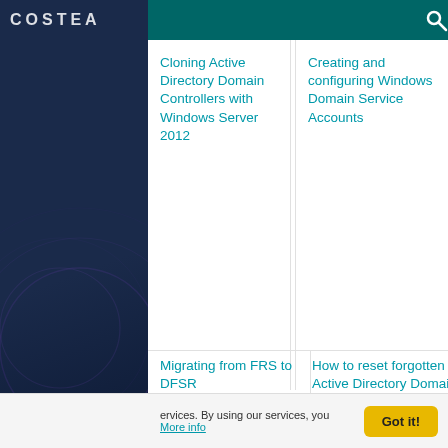COSTEA
Cloning Active Directory Domain Controllers with Windows Server 2012
Creating and configuring Windows Domain Service Accounts
Migrating from FRS to DFSR
How to reset forgotten Active Directory Domain
ervices. By using our services, you
More info
Got it!